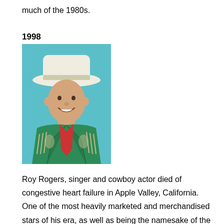much of the 1980s.
1998
[Figure (photo): Portrait photo of Roy Rogers wearing a white cowboy hat, green fringed jacket with embroidery, and red scarf/tie, smiling at the camera.]
Roy Rogers, singer and cowboy actor died of congestive heart failure in Apple Valley, California. One of the most heavily marketed and merchandised stars of his era, as well as being the namesake of the Roy Rogers Restaurants franchised chain. He and his wife Dale Evans, his golden palomino, Trigger, and his German Shepherd dog,